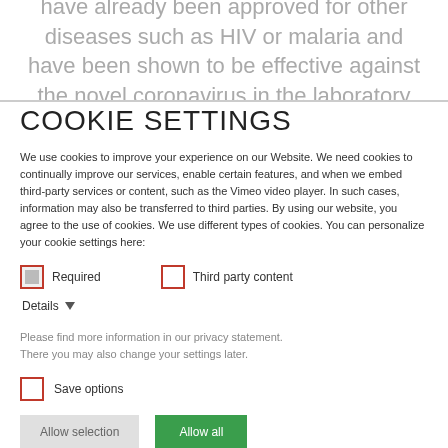have already been approved for other diseases such as HIV or malaria and have been shown to be effective against the novel coronavirus in the laboratory and in
COOKIE SETTINGS
We use cookies to improve your experience on our Website. We need cookies to continually improve our services, enable certain features, and when we embed third-party services or content, such as the Vimeo video player. In such cases, information may also be transferred to third parties. By using our website, you agree to the use of cookies. We use different types of cookies. You can personalize your cookie settings here:
Required   Third party content
Details
Please find more information in our privacy statement.
There you may also change your settings later.
Save options
Allow selection   Allow all